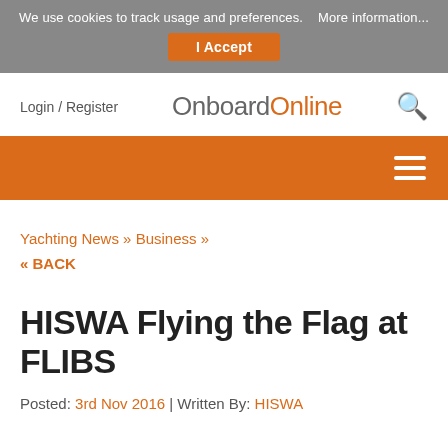We use cookies to track usage and preferences.   More information...
I Accept
Login / Register
OnboardOnline
[Figure (other): Search magnifying glass icon]
[Figure (other): Hamburger menu icon with three horizontal lines on orange background]
Yachting News » Business »
« BACK
HISWA Flying the Flag at FLIBS
Posted: 3rd Nov 2016 | Written By: HISWA